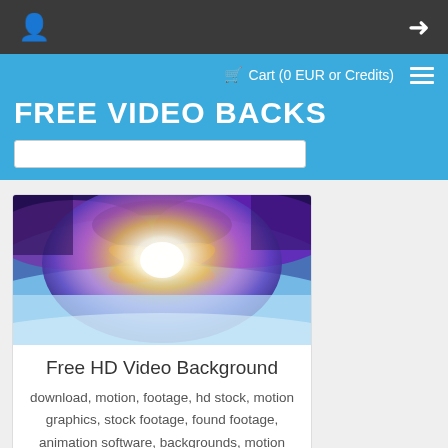Cart (0 EUR or Credits)
FREE VIDEO BACKS
[Figure (photo): Thumbnail image of a bright sunburst with purple and blue sky background – a free HD video background preview]
Free HD Video Background
download, motion, footage, hd stock, motion graphics, stock footage, found footage, animation software, backgrounds, motion design, stockvideo, stock…